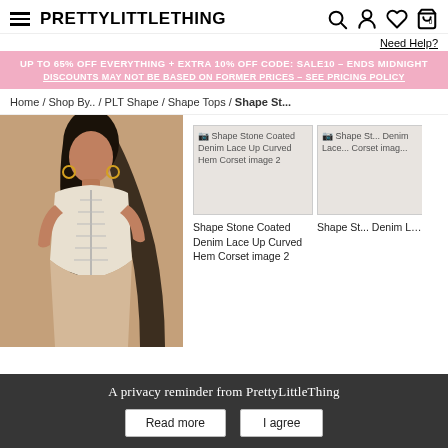≡ PRETTYLITTLETHING
Need Help?
UP TO 65% OFF EVERYTHING + EXTRA 10% OFF CODE: SALE10 – ENDS MIDNIGHT
DISCOUNTS MAY NOT BE BASED ON FORMER PRICES – SEE PRICING POLICY
Home / Shop By.. / PLT Shape / Shape Tops / Shape St...
[Figure (photo): Model wearing a white stone coated denim lace up curved hem corset top with beige skirt, long straight dark hair, hoop earrings, beige background]
[Figure (photo): Broken image placeholder for Shape Stone Coated Denim Lace Up Curved Hem Corset image 2]
Shape Stone Coated Denim Lace Up Curved Hem Corset image 2
[Figure (photo): Broken image placeholder for Shape St... Denim Lace... Corset imag...]
Shape St... Denim Lace... Corset imag...
A privacy reminder from PrettyLittleThing
Read more
I agree